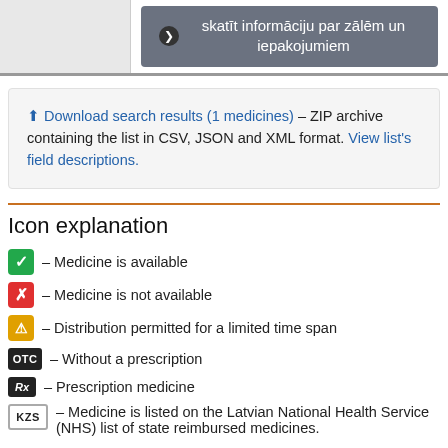[Figure (screenshot): Top bar with grey left panel and dark grey button labeled 'skatīt informāciju par zālēm un iepakojumiem' with arrow icon]
⬆ Download search results (1 medicines) – ZIP archive containing the list in CSV, JSON and XML format. View list's field descriptions.
Icon explanation
✓ – Medicine is available
✗ – Medicine is not available
⚠ – Distribution permitted for a limited time span
OTC – Without a prescription
Rx – Prescription medicine
KZS – Medicine is listed on the Latvian National Health Service (NHS) list of state reimbursed medicines.